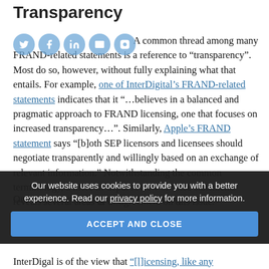Transparency
A common thread among many FRAND-related statements is a reference to “transparency”. Most do so, however, without fully explaining what that entails. For example, one of InterDigital’s FRAND-related statements indicates that it “…believes in a balanced and pragmatic approach to FRAND licensing, one that focuses on increased transparency…”. Similarly, Apple’s FRAND statement says “[b]oth SEP licensors and licensees should negotiate transparently and willingly based on an exchange of relevant information.” Notwithstanding the common terminology, a more in-depth review of these statements reveals several areas of disagreement on this issue.
One such area of disagreement is with respect to the
InterDigal is of the view that “[l]icensing, like any